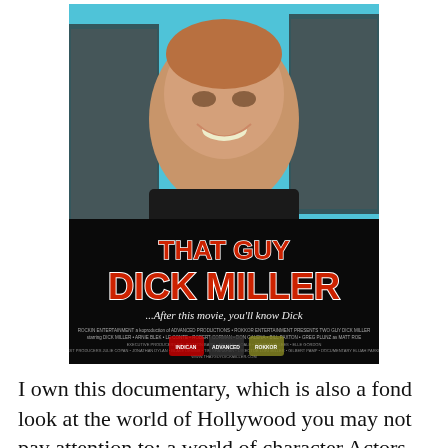[Figure (photo): Movie poster for 'That Guy Dick Miller' documentary. Blue and black background with collage of black and white film stills surrounding a color close-up photo of Dick Miller smiling. Title reads 'THAT GUY DICK MILLER' in large red letters with white outline. Tagline: '...After this movie, you'll know Dick'. Small credits text and logos at bottom including Indican Pictures.]
I own this documentary, which is also a fond look at the world of Hollywood you may not pay attention to: a world of character Actors, technicians, and other creatives in front of and behind the camera who work for decades,